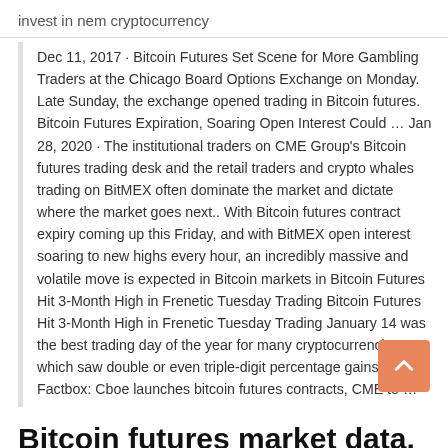invest in nem cryptocurrency
Dec 11, 2017 · Bitcoin Futures Set Scene for More Gambling Traders at the Chicago Board Options Exchange on Monday. Late Sunday, the exchange opened trading in Bitcoin futures. Bitcoin Futures Expiration, Soaring Open Interest Could … Jan 28, 2020 · The institutional traders on CME Group's Bitcoin futures trading desk and the retail traders and crypto whales trading on BitMEX often dominate the market and dictate where the market goes next.. With Bitcoin futures contract expiry coming up this Friday, and with BitMEX open interest soaring to new highs every hour, an incredibly massive and volatile move is expected in Bitcoin markets in Bitcoin Futures Hit 3-Month High in Frenetic Tuesday Trading Bitcoin Futures Hit 3-Month High in Frenetic Tuesday Trading January 14 was the best trading day of the year for many cryptocurrencies, which saw double or even triple-digit percentage gains. Factbox: Cboe launches bitcoin futures contracts, CME to …
Bitcoin futures market data, including CME and Cboe Global